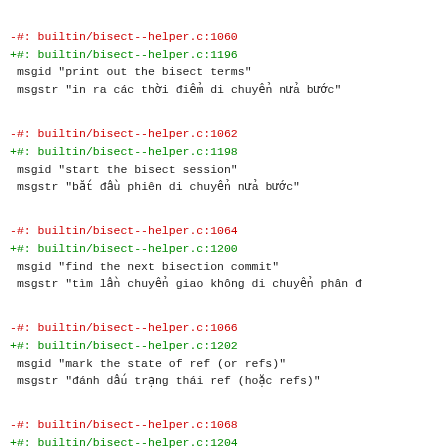-#: builtin/bisect--helper.c:1060
+#: builtin/bisect--helper.c:1196
 msgid "print out the bisect terms"
 msgstr "in ra các thời điểm di chuyển nửa bước"
-#: builtin/bisect--helper.c:1062
+#: builtin/bisect--helper.c:1198
 msgid "start the bisect session"
 msgstr "bắt đầu phiên di chuyển nửa bước"
-#: builtin/bisect--helper.c:1064
+#: builtin/bisect--helper.c:1200
 msgid "find the next bisection commit"
 msgstr "tìm lần chuyển giao không di chuyển phân đ
-#: builtin/bisect--helper.c:1066
+#: builtin/bisect--helper.c:1202
 msgid "mark the state of ref (or refs)"
 msgstr "đánh dấu trạng thái ref (hoặc refs)"
-#: builtin/bisect--helper.c:1068
+#: builtin/bisect--helper.c:1204
 msgid "list the bisection steps so far"
 msgstr "liệt kê các bước bisection đi quá xa"
-#: builtin/bisect--helper.c:1070
+#: builtin/bisect--helper.c:1206
 msgid "replay the bisection process from the given
 msgstr "phát lại quá trình bisection từ tên đã cho